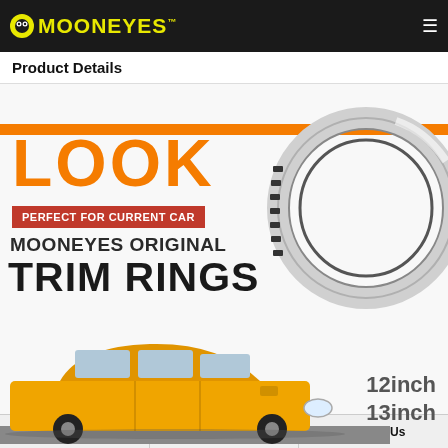MOONEYES
Product Details
[Figure (photo): Mooneyes Original Trim Rings product advertisement showing chrome trim ring, yellow car, with text: LOOK, PERFECT FOR CURRENT CAR, MOONEYES ORIGINAL TRIM RINGS, 12inch 13inch]
Sign-in | Register now! | Contact Us